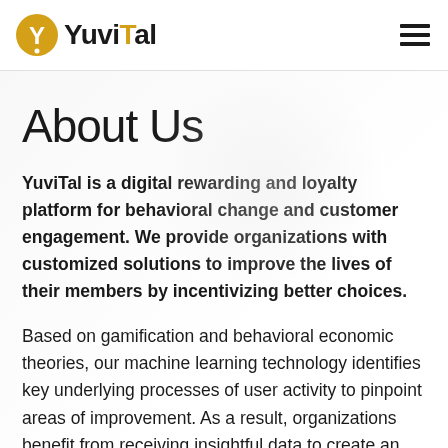[Figure (logo): YuviTal logo with golden circular icon bearing a checkmark/Y symbol and bold text 'YuviTal']
About Us
YuviTal is a digital rewarding and loyalty platform for behavioral change and customer engagement. We provide organizations with customized solutions to improve the lives of their members by incentivizing better choices.
Based on gamification and behavioral economic theories, our machine learning technology identifies key underlying processes of user activity to pinpoint areas of improvement. As a result, organizations benefit from receiving insightful data to create an effective member